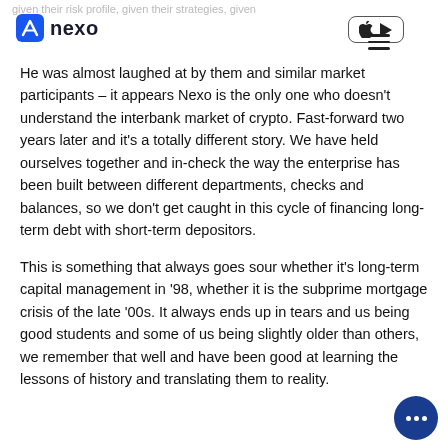given their risk profile, given their strategies, given
[Figure (logo): Nexo logo with blue N icon and 'nexo' wordmark]
He was almost laughed at by them and similar market participants – it appears Nexo is the only one who doesn't understand the interbank market of crypto. Fast-forward two years later and it's a totally different story. We have held ourselves together and in-check the way the enterprise has been built between different departments, checks and balances, so we don't get caught in this cycle of financing long-term debt with short-term depositors.
This is something that always goes sour whether it's long-term capital management in '98, whether it is the subprime mortgage crisis of the late '00s. It always ends up in tears and us being good students and some of us being slightly older than others, we remember that well and have been good at learning the lessons of history and translating them to reality.